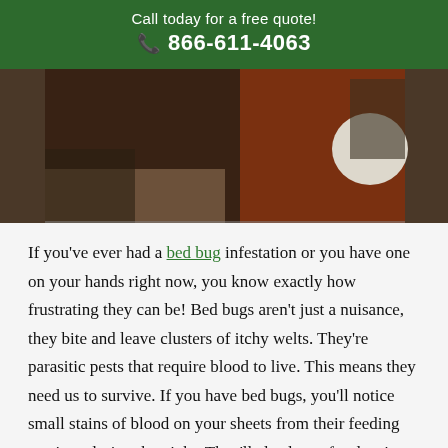Call today for a free quote!
📞 866-611-4063
[Figure (photo): A person standing near a wooden table with a round white object on it, viewed from above.]
If you've ever had a bed bug infestation or you have one on your hands right now, you know exactly how frustrating they can be! Bed bugs aren't just a nuisance, they bite and leave clusters of itchy welts. They're parasitic pests that require blood to live. This means they need us to survive. If you have bed bugs, you'll notice small stains of blood on your sheets from their feeding sessions during the night. They'll also leave fecal stains